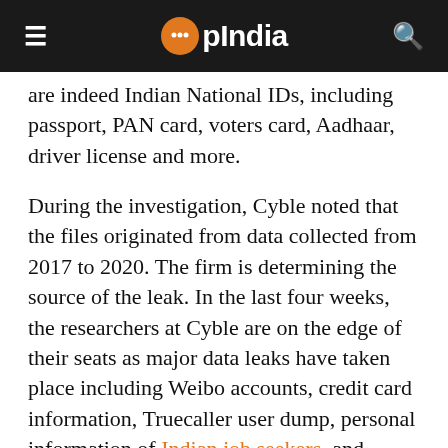OpIndia
are indeed Indian National IDs, including passport, PAN card, voters card, Aadhaar, driver license and more.
During the investigation, Cyble noted that the files originated from data collected from 2017 to 2020. The firm is determining the source of the leak. In the last four weeks, the researchers at Cyble are on the edge of their seats as major data leaks have taken place including Weibo accounts, credit card information, Truecaller user dump, personal information of Indian job seekers, and more.
In this instance, the firm said that a non-reputed actor